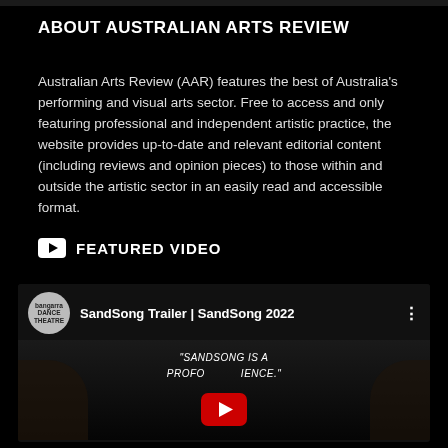ABOUT AUSTRALIAN ARTS REVIEW
Australian Arts Review (AAR) features the best of Australia's performing and visual arts sector. Free to access and only featuring professional and independent artistic practice, the website provides up-to-date and relevant editorial content (including reviews and opinion pieces) to those within and outside the artistic sector in an easily read and accessible format.
FEATURED VIDEO
[Figure (screenshot): YouTube embedded video preview showing 'SandSong Trailer | SandSong 2022' from Bangarra Dance Theatre channel, with a dark thumbnail showing performers and text 'SANDSONG IS A PROFOUND EXPERIENCE.' with a YouTube play button overlay.]